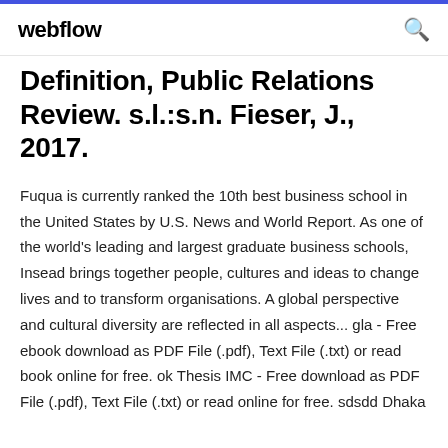webflow
Definition, Public Relations Review. s.l.:s.n. Fieser, J., 2017.
Fuqua is currently ranked the 10th best business school in the United States by U.S. News and World Report. As one of the world's leading and largest graduate business schools, Insead brings together people, cultures and ideas to change lives and to transform organisations. A global perspective and cultural diversity are reflected in all aspects... gla - Free ebook download as PDF File (.pdf), Text File (.txt) or read book online for free. ok Thesis IMC - Free download as PDF File (.pdf), Text File (.txt) or read online for free. sdsdd Dhaka